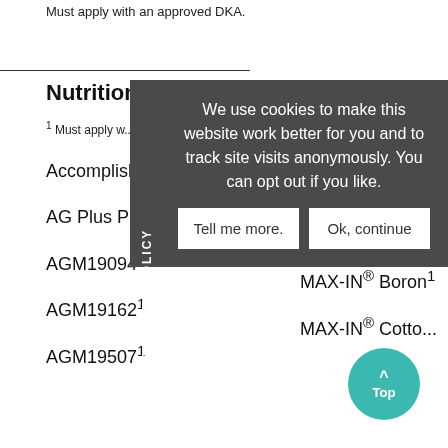Must apply with an approved DKA.
Nutrition
1 Must apply w...
Accomplish® LM
Magnesium 2.5% (The Andersons)1
AG Plus Plush BMO1
Manganese 6%
AGM190941
MAX-IN® Boron1
AGM191621
MAX-IN® Cotto...
AGM195071
[Figure (other): Cookie policy overlay banner with text: We use cookies to make this website work better for you and to track site visits anonymously. You can opt out if you like. Two buttons: Tell me more. and Ok, continue]
[Figure (other): Teal circular Top button with upward caret arrow]